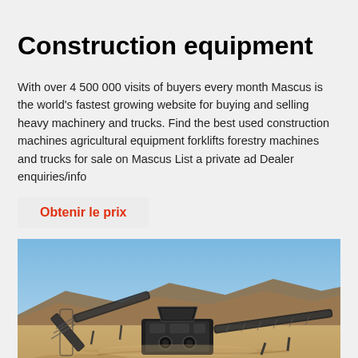Construction equipment
With over 4 500 000 visits of buyers every month Mascus is the world’s fastest growing website for buying and selling heavy machinery and trucks. Find the best used construction machines agricultural equipment forklifts forestry machines and trucks for sale on Mascus List a private ad Dealer enquiries/info
Obtenir le prix
[Figure (photo): Outdoor photograph of heavy construction/mining equipment including conveyor belts and a crusher machine set in an arid desert landscape with sandy ground and rocky hills in the background under a clear blue sky.]